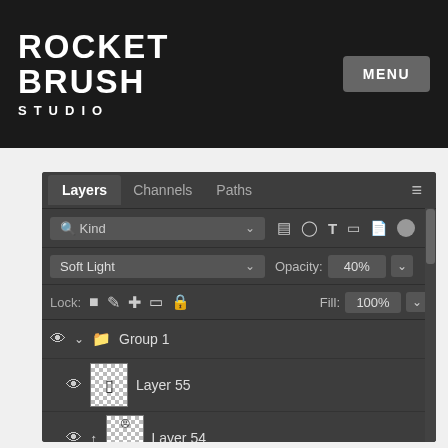[Figure (logo): Rocket Brush Studio logo - white text on black background showing stylized text ROCKET BRUSH STUDIO]
MENU
[Figure (screenshot): Photoshop Layers panel showing tabs: Layers (active), Channels, Paths. Filter row with Kind dropdown and icons. Blend mode: Soft Light, Opacity: 40%. Lock row with icons, Fill: 100%. Group 1 layer with eye icon and folder. Layer 55 with thumbnail. Layer 54 with thumbnail and arrow icon.]